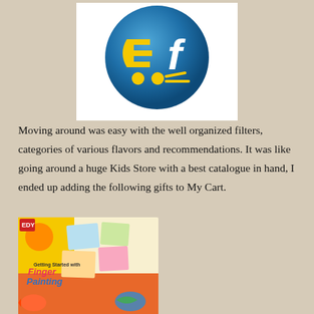[Figure (logo): Flipkart shopping cart logo — a blue sphere with a yellow stylized shopping cart icon and white 'f' letter, on a white square background]
Moving around was easy with the well organized filters, categories of various flavors and recommendations. It was like going around a huge Kids Store with a best catalogue in hand, I ended up adding the following gifts to My Cart.
[Figure (photo): A children's book/kit titled 'Getting Started with Finger Painting' showing colorful illustrated cards with animals, insects, fruits, and handprints on a bright yellow and orange background]